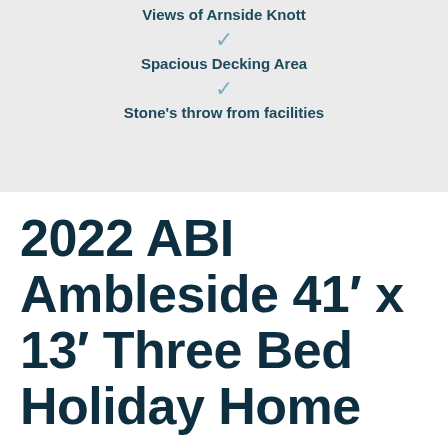Views of Arnside Knott
Spacious Decking Area
Stone's throw from facilities
2022 ABI Ambleside 41' x 13' Three Bed Holiday Home